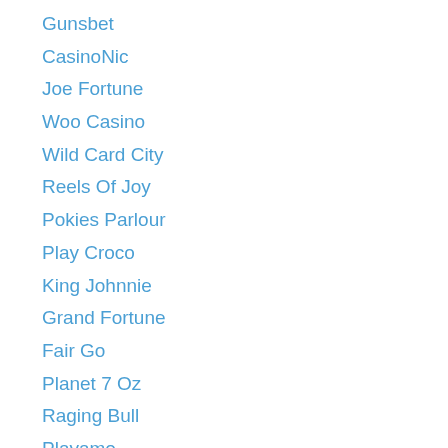Gunsbet
CasinoNic
Joe Fortune
Woo Casino
Wild Card City
Reels Of Joy
Pokies Parlour
Play Croco
King Johnnie
Grand Fortune
Fair Go
Planet 7 Oz
Raging Bull
Playamo
CasinoChap